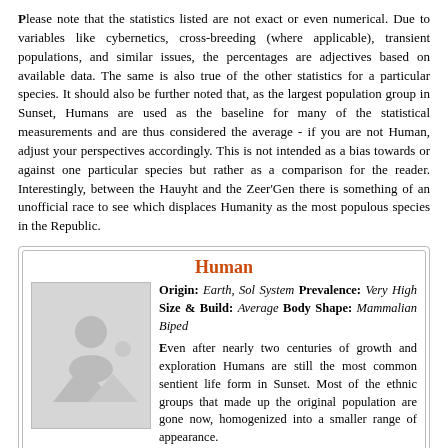Please note that the statistics listed are not exact or even numerical. Due to variables like cybernetics, cross-breeding (where applicable), transient populations, and similar issues, the percentages are adjectives based on available data. The same is also true of the other statistics for a particular species. It should also be further noted that, as the largest population group in Sunset, Humans are used as the baseline for many of the statistical measurements and are thus considered the average - if you are not Human, adjust your perspectives accordingly. This is not intended as a bias towards or against one particular species but rather as a comparison for the reader. Interestingly, between the Hauyht and the Zeer'Gen there is something of an unofficial race to see which displaces Humanity as the most populous species in the Republic.
Human
Origin: Earth, Sol System Prevalence: Very High Size & Build: Average Body Shape: Mammalian Biped
[Figure (photo): Placeholder image box with a grey background showing a generic image placeholder icon (person silhouette with mountain and sun)]
Even after nearly two centuries of growth and exploration Humans are still the most common sentient life form in Sunset. Most of the ethnic groups that made up the original population are gone now, homogenized into a smaller range of appearance. Slightly dusky skin, brown or black hair, and green or brown eyes are the everyday normal with the only notable ethnic communities remaining being those of Slavic or African origin. Most of